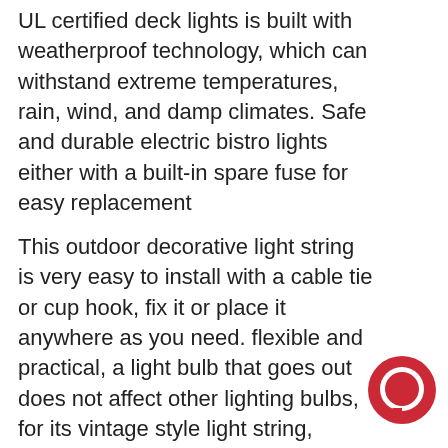UL certified deck lights is built with weatherproof technology, which can withstand extreme temperatures, rain, wind, and damp climates. Safe and durable electric bistro lights either with a built-in spare fuse for easy replacement
This outdoor decorative light string is very easy to install with a cable tie or cup hook, fix it or place it anywhere as you need. flexible and practical, a light bulb that goes out does not affect other lighting bulbs, for its vintage style light string, please search B07W59GM6J
[Figure (illustration): Red circular chat/message bubble icon in the bottom-right corner]